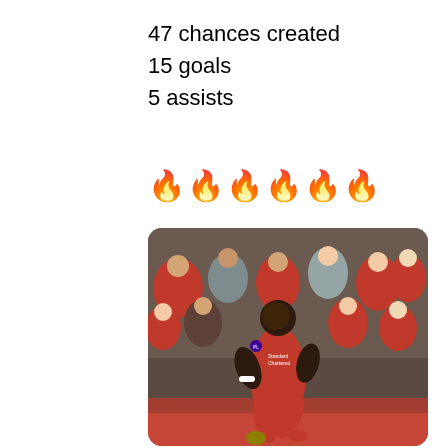47 chances created
15 goals
5 assists
🔥🔥🔥🔥🔥🔥
[Figure (photo): A Liverpool FC footballer in red kit celebrating on the pitch with fans in the background cheering and applauding.]